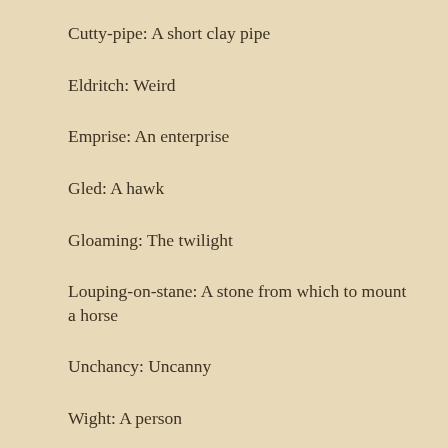Cutty-pipe: A short clay pipe
Eldritch: Weird
Emprise: An enterprise
Gled: A hawk
Gloaming: The twilight
Louping-on-stane: A stone from which to mount a horse
Unchancy: Uncanny
Wight: A person